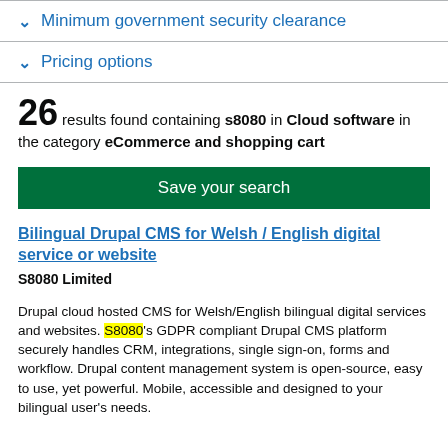Minimum government security clearance
Pricing options
26 results found containing s8080 in Cloud software in the category eCommerce and shopping cart
Save your search
Bilingual Drupal CMS for Welsh / English digital service or website
S8080 Limited
Drupal cloud hosted CMS for Welsh/English bilingual digital services and websites. S8080's GDPR compliant Drupal CMS platform securely handles CRM, integrations, single sign-on, forms and workflow. Drupal content management system is open-source, easy to use, yet powerful. Mobile, accessible and designed to your bilingual user's needs.